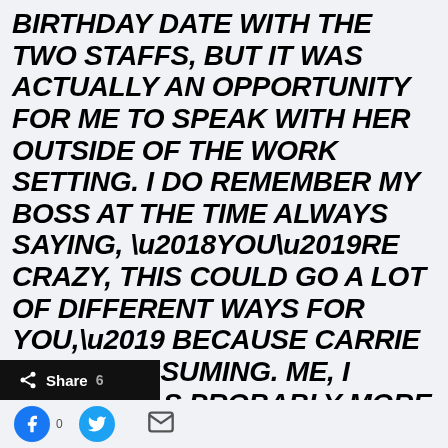BIRTHDAY DATE WITH THE TWO STAFFS, BUT IT WAS ACTUALLY AN OPPORTUNITY FOR ME TO SPEAK WITH HER OUTSIDE OF THE WORK SETTING. I DO REMEMBER MY BOSS AT THE TIME ALWAYS SAYING, ‘YOU’RE CRAZY, THIS COULD GO A LOT OF DIFFERENT WAYS FOR YOU,’ BECAUSE CARRIE WAS UNASSUMING. ME, I THINK I WAS PROBABLY MORE IN LOVE RIGHT AWAY THAN SHE WAS.”
[Figure (other): Share button bar with count of 6, Facebook icon, Twitter icon, and email icon]